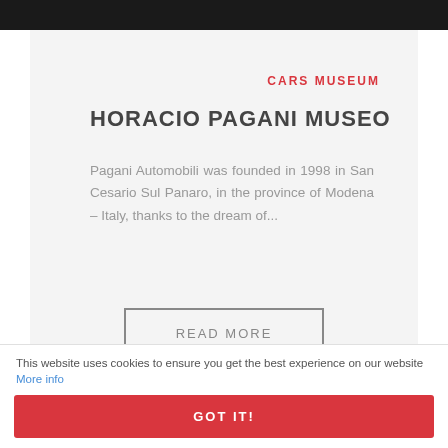[Figure (photo): Dark/black top image strip of a car or interior]
CARS MUSEUM
HORACIO PAGANI MUSEO
Pagani Automobili was founded in 1998 in San Cesario Sul Panaro, in the province of Modena - Italy, thanks to the dream of...
READ MORE
[Figure (photo): Dark/black lower image strip]
This website uses cookies to ensure you get the best experience on our website More info
GOT IT!